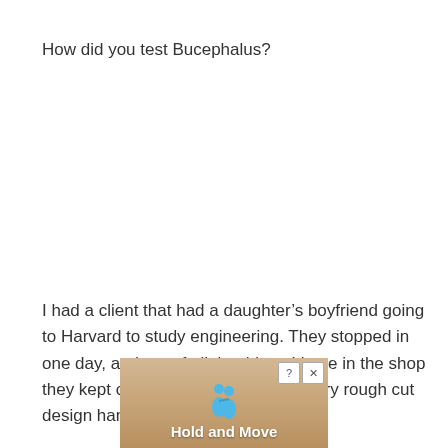How did you test Bucephalus?
I had a client that had a daughter’s boyfriend going to Harvard to study engineering. They stopped in one day, and out of all the things I have in the shop they kept circling my drawings and very rough cut design hanging
[Figure (other): Advertisement banner showing two blue cartoon figures and text 'Hold and Move' with a close button (X) and help button (?) in the upper right corner.]